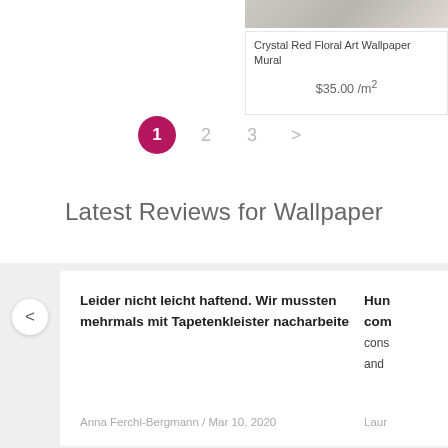Crystal Red Floral Art Wallpaper Mural
$35.00 /m²
1  2  3  >
Latest Reviews for Wallpaper
Leider nicht leicht haftend. Wir mussten mehrmals mit Tapetenkleister nacharbeiten.
Anna Ferchl-Bergmann / Mar 10, 2020
Hun... com... cons... and...
Laur...